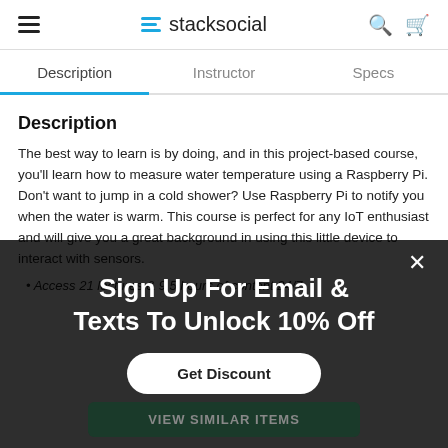stacksocial
Description | Instructor | Specs
Description
The best way to learn is by doing, and in this project-based course, you'll learn how to measure water temperature using a Raspberry Pi. Don't want to jump in a cold shower? Use Raspberry Pi to notify you when the water is warm. This course is perfect for any IoT enthusiast and will give you a great background in using this little device to interact with sensors.
Access 21 lectures & 9.5 hours of content 24/7
[Figure (screenshot): Popup overlay: Sign Up For Email & Texts To Unlock 10% Off with Get Discount button and VIEW SIMILAR ITEMS button]